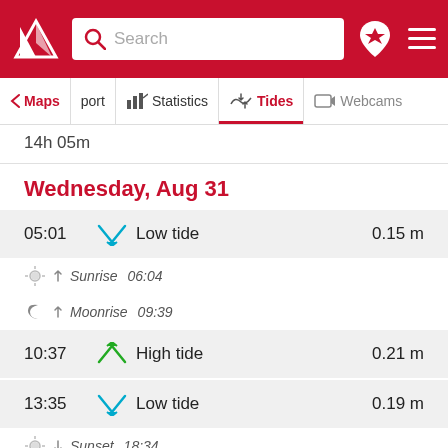[Figure (screenshot): App navigation header with red background, logo, search bar, and icons]
Maps | port | Statistics | Tides | Webcams
14h 05m
Wednesday, Aug 31
05:01  Low tide  0.15 m
Sunrise  06:04
Moonrise  09:39
10:37  High tide  0.21 m
13:35  Low tide  0.19 m
Sunset  18:34
21:00  High tide  0.03 m (partial)